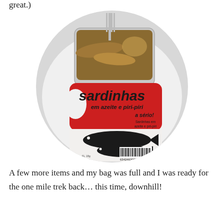great.)
[Figure (photo): Open tin of sardines on a white plate with a fork inserted, showing the red label 'sardinhas em azeite e piri-piri a sério! Sardinhas em azeite e piri-piri biológico' with fish illustrations and barcode 634246200021]
A few more items and my bag was full and I was ready for the one mile trek back… this time, downhill!